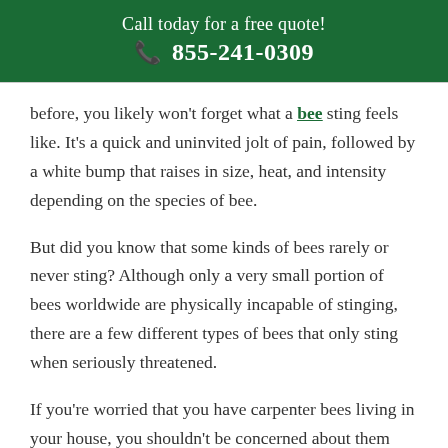Call today for a free quote! 📞 855-241-0309
before, you likely won't forget what a bee sting feels like. It's a quick and uninvited jolt of pain, followed by a white bump that raises in size, heat, and intensity depending on the species of bee.
But did you know that some kinds of bees rarely or never sting? Although only a very small portion of bees worldwide are physically incapable of stinging, there are a few different types of bees that only sting when seriously threatened.
If you're worried that you have carpenter bees living in your house, you shouldn't be concerned about them